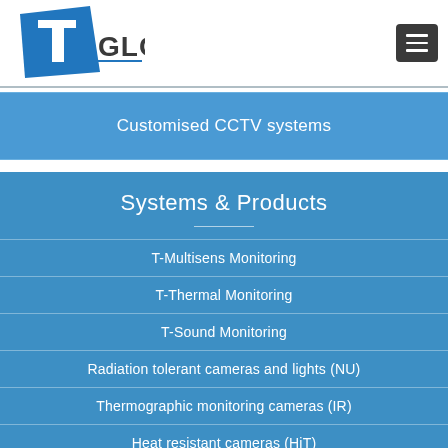T Global logo and navigation menu
Customised CCTV systems
Systems & Products
T-Multisens Monitoring
T-Thermal Monitoring
T-Sound Monitoring
Radiation tolerant cameras and lights (NU)
Thermographic monitoring cameras (IR)
Heat resistant cameras (HiT)
Explosion proof cameras (Ex)